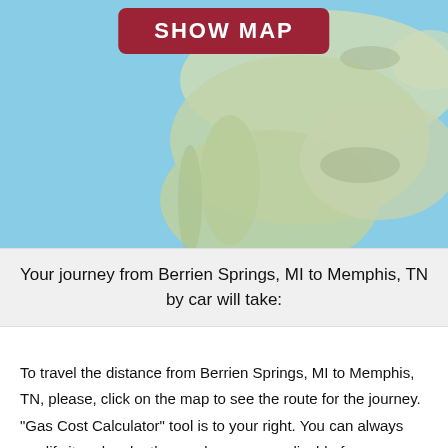[Figure (map): Blurred map showing North America including Mexico and southern United States with a dark red 'SHOW MAP' button overlaid at the top center.]
Your journey from Berrien Springs, MI to Memphis, TN by car will take:
To travel the distance from Berrien Springs, MI to Memphis, TN, please, click on the map to see the route for the journey. "Gas Cost Calculator" tool is to your right. You can always modify it and make the number more applicable for your journey.